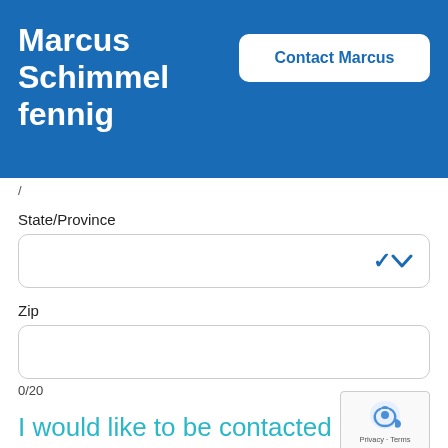Marcus Schimmelfennig
Contact Marcus
/
State/Province
Zip
0/20
I would like to be contacted